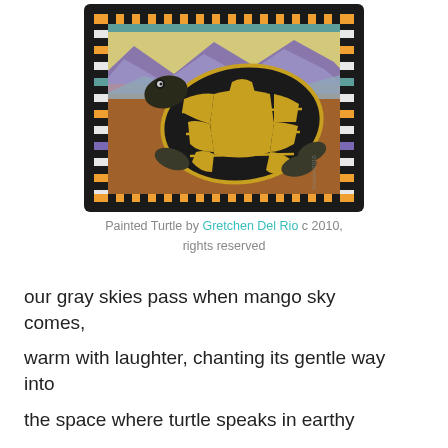[Figure (illustration): A colorful folk-art style painting of a Painted Turtle viewed from above, featuring a decorative patterned border with stripes and geometric shapes in orange, teal, purple, and black. The turtle has a dark shell with yellow/golden markings in a mosaic pattern, set against an earthy brown and purple mountain background.]
Painted Turtle by Gretchen Del Rio c 2010, rights reserved
our gray skies pass when mango sky comes,
warm with laughter, chanting its gentle way into
the space where turtle speaks in earthy